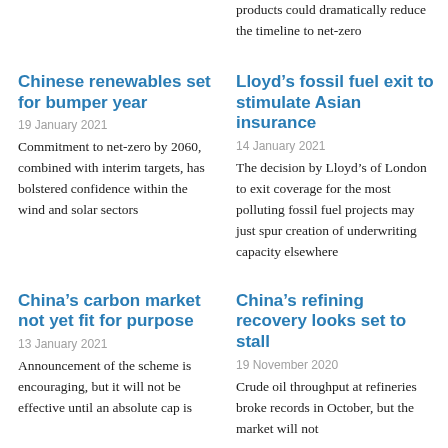products could dramatically reduce the timeline to net-zero
Chinese renewables set for bumper year
19 January 2021
Commitment to net-zero by 2060, combined with interim targets, has bolstered confidence within the wind and solar sectors
Lloyd’s fossil fuel exit to stimulate Asian insurance
14 January 2021
The decision by Lloyd’s of London to exit coverage for the most polluting fossil fuel projects may just spur creation of underwriting capacity elsewhere
China’s carbon market not yet fit for purpose
13 January 2021
Announcement of the scheme is encouraging, but it will not be effective until an absolute cap is
China’s refining recovery looks set to stall
19 November 2020
Crude oil throughput at refineries broke records in October, but the market will not